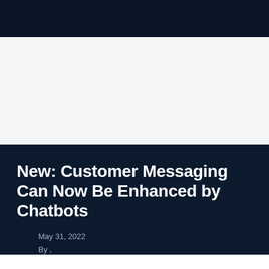New: Customer Messaging Can Now Be Enhanced by Chatbots
May 31, 2022
By ,